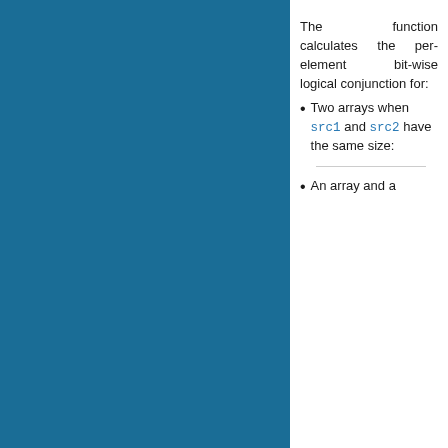The function calculates the per-element bit-wise logical conjunction for:
Two arrays when src1 and src2 have the same size:
An array and a